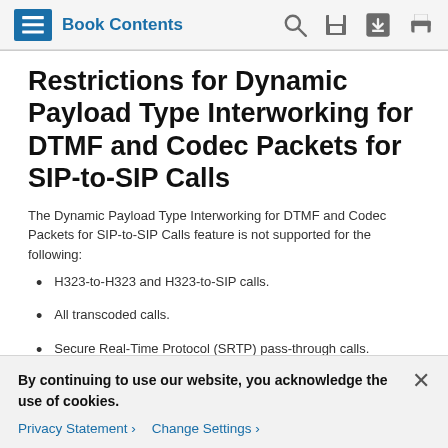Book Contents
Restrictions for Dynamic Payload Type Interworking for DTMF and Codec Packets for SIP-to-SIP Calls
The Dynamic Payload Type Interworking for DTMF and Codec Packets for SIP-to-SIP Calls feature is not supported for the following:
H323-to-H323 and H323-to-SIP calls.
All transcoded calls.
Secure Real-Time Protocol (SRTP) pass-through calls.
Flow-around calls.
By continuing to use our website, you acknowledge the use of cookies.
Privacy Statement > Change Settings >